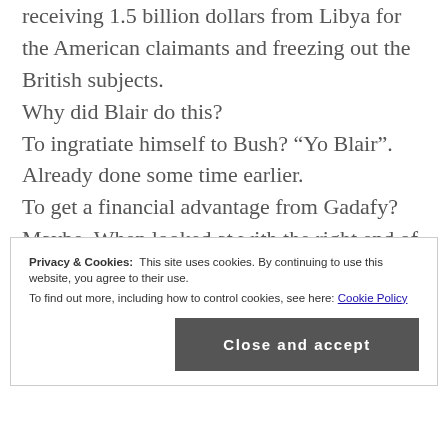receiving 1.5 billion dollars from Libya for the American claimants and freezing out the British subjects.
Why did Blair do this?
To ingratiate himself to Bush? “Yo Blair”. Already done some time earlier.
To get a financial advantage from Gadafy? Maybe. When looked at with the right end of the telescope, the reason is clear.
The payment to UK citizens would involve
Privacy & Cookies:  This site uses cookies. By continuing to use this website, you agree to their use.
To find out more, including how to control cookies, see here: Cookie Policy
Close and accept